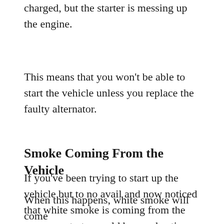charged, but the starter is messing up the engine.
This means that you won't be able to start the vehicle unless you replace the faulty alternator.
Smoke Coming From the Vehicle
If you've been trying to start up the vehicle but to no avail and now noticed that white smoke is coming from the car, your starter could be overheating.
When this happens, white smoke will come